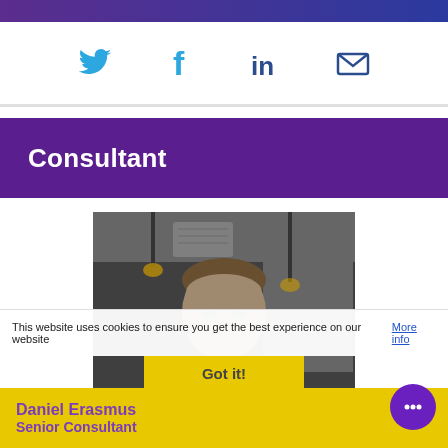[Figure (other): Social media icons: Twitter bird icon, Facebook f icon, LinkedIn in icon, Email envelope icon — displayed in a horizontal row on a white background]
Consultant
[Figure (photo): Black and white professional headshot photo of a young man with short brown hair, wearing a black polo shirt, in an office/restaurant setting with hanging lights in the background]
This website uses cookies to ensure you get the best experience on our website More info
Got it!
Daniel Erasmus
Senior Consultant